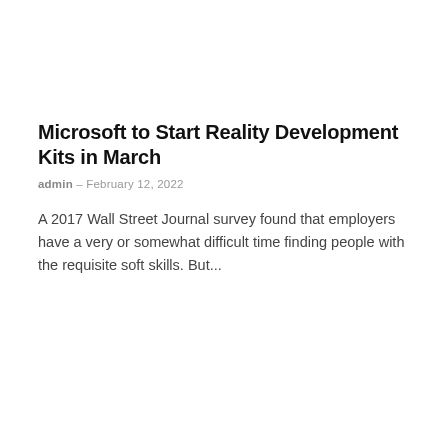Microsoft to Start Reality Development Kits in March
admin – February 12, 2022
A 2017 Wall Street Journal survey found that employers have a very or somewhat difficult time finding people with the requisite soft skills. But...